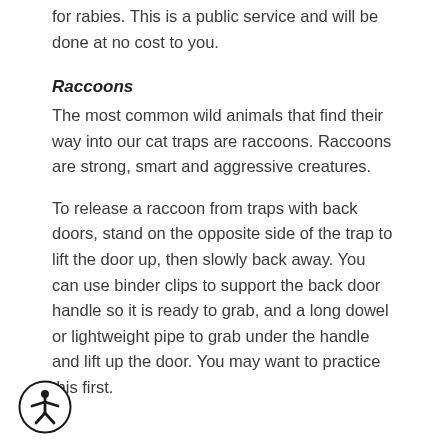for rabies. This is a public service and will be done at no cost to you.
Raccoons
The most common wild animals that find their way into our cat traps are raccoons. Raccoons are strong, smart and aggressive creatures.
To release a raccoon from traps with back doors, stand on the opposite side of the trap to lift the door up, then slowly back away. You can use binder clips to support the back door handle so it is ready to grab, and a long dowel or lightweight pipe to grab under the handle and lift up the door. You may want to practice this first.
[Figure (illustration): Accessibility icon — a circular button with a human figure with arms outstretched, representing accessibility.]